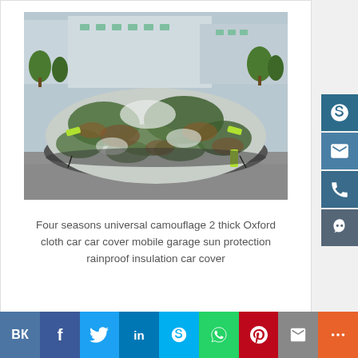[Figure (photo): A car covered with camouflage-patterned car cover (greens, browns, white/grey), parked in an outdoor lot with trees and buildings in the background.]
Four seasons universal camouflage 2 thick Oxford cloth car car cover mobile garage sun protection rainproof insulation car cover